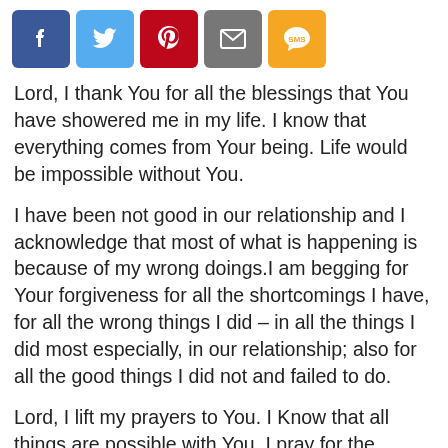[Figure (other): Row of five social sharing buttons: Facebook (blue), Twitter (light blue), Pinterest (red), Email (gray), SMS (yellow/orange)]
Lord, I thank You for all the blessings that You have showered me in my life. I know that everything comes from Your being. Life would be impossible without You.
I have been not good in our relationship and I acknowledge that most of what is happening is because of my wrong doings.I am begging for Your forgiveness for all the shortcomings I have, for all the wrong things I did – in all the things I did most especially, in our relationship; also for all the good things I did not and failed to do.
Lord, I lift my prayers to You. I Know that all things are possible with You. I pray for the restoration of my relationship with my ex-boyfriend. We have been